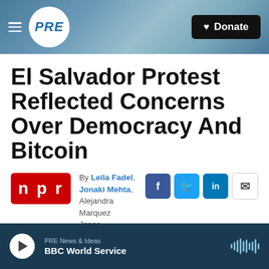PRE | Donate
El Salvador Protest Reflected Concerns Over Democracy And Bitcoin
By Leila Fadel, Jonaki Mehta, Alejandra Marquez Janse, Alejandra Marquez Janse, Justine Kenin
Published September 17
PRE News & Ideas | BBC World Service